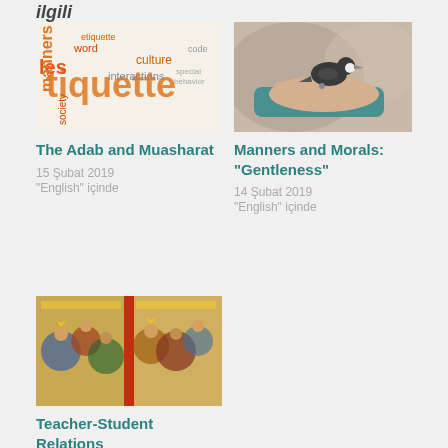ilgili
[Figure (photo): Word cloud featuring the word 'tiquette' prominently in orange, with other words like 'manners', 'word', 'culture', 'interactions', 'society', 'les' scattered around in various colors]
The Adab and Muasharat
15 Şubat 2019
"English" içinde
[Figure (photo): A small bird perched on a human hand against a blurred background]
Manners and Morals: "Gentleness"
14 Şubat 2019
"English" içinde
[Figure (illustration): Medieval illuminated manuscript painting showing figures in colorful robes arranged in a circular composition]
Teacher-Student Relations
15 Şubat 2019